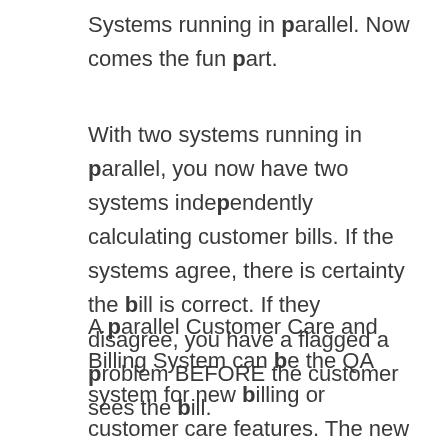Systems running in parallel. Now comes the fun part.
With two systems running in parallel, you now have two systems independently calculating customer bills. If the systems agree, there is certainty the bill is correct. If they disagree, you have a flagged a problem BEFORE the customer sees the bill.
A parallel Customer Care and Billing System can be the QA system for new billing or customer care features. The new parallel system can become the access point for the